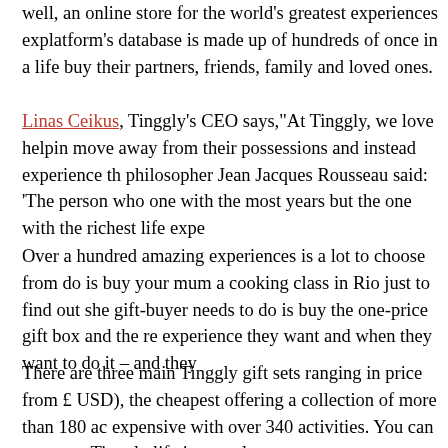well, an online store for the world's greatest experiences ex... platform's database is made up of hundreds of once in a life... buy their partners, friends, family and loved ones.
Linas Ceikus, Tinggly's CEO says,"At Tinggly, we love helpin... move away from their possessions and instead experience th... philosopher Jean Jacques Rousseau said: 'The person who... one with the most years but the one with the richest life expe...
Over a hundred amazing experiences is a lot to choose from... do is buy your mum a cooking class in Rio just to find out she... gift-buyer needs to do is buy the one-price gift box and the re... experience they want and when they want to do it – and they...
There are three main Tinggly gift sets ranging in price from £... USD), the cheapest offering a collection of more than 180 ac... expensive with over 340 activities. You can even use Tinggly... lifetime goals.